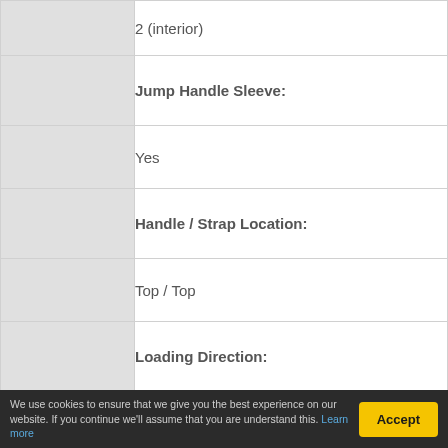|  | Specification |
| --- | --- |
|  | 2 (interior) |
|  | Jump Handle Sleeve: |
|  | Yes |
|  | Handle / Strap Location: |
|  | Top / Top |
|  | Loading Direction: |
|  | Bidirectional |
|  | Case Closure: |
We use cookies to ensure that we give you the best experience on our website. If you continue we'll assume that you are understand this. Learn more
Accept